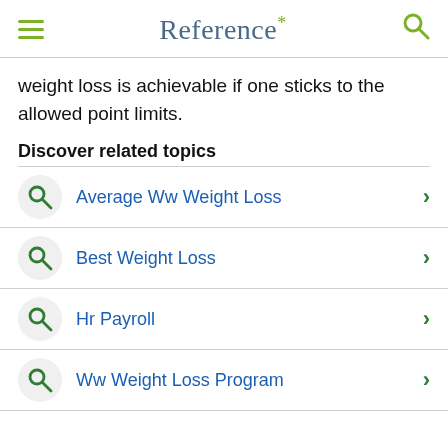Reference*
weight loss is achievable if one sticks to the allowed point limits.
Discover related topics
Average Ww Weight Loss
Best Weight Loss
Hr Payroll
Ww Weight Loss Program